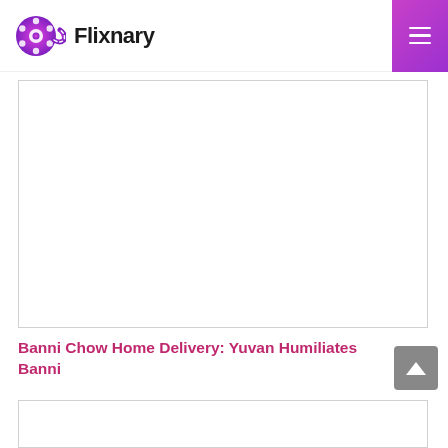Flixnary — navigation header with logo and hamburger menu
[Figure (other): Advertisement placeholder box (white rectangle with border)]
Banni Chow Home Delivery: Yuvan Humiliates Banni
[Figure (other): Second advertisement placeholder box (partially visible at bottom)]